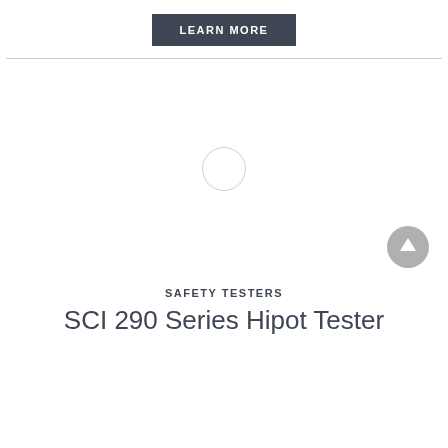[Figure (other): LEARN MORE button — dark gray rectangular button with white uppercase text]
[Figure (other): Loading spinner placeholder — light gray circle in center of image area, with a scroll-to-top arrow button in bottom-right corner]
SAFETY TESTERS
SCI 290 Series Hipot Tester